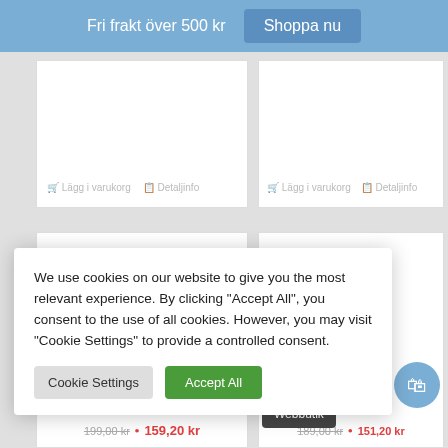Fri frakt över 500 kr  Shoppa nu
[Figure (screenshot): Product card grid with two rows of product cards, each with 'Lägg i varukorg' and 'Detaljinfo' buttons. Two cards visible in top row, two in bottom row.]
We use cookies on our website to give you the most relevant experience. By clicking “Accept All”, you consent to the use of all cookies. However, you may visit “Cookie Settings” to provide a controlled consent.
Cookie Settings  Accept All
onkey – hampoo
Webbutik
199,00 kr • 159,20 kr
189,00 kr • 151,20 kr